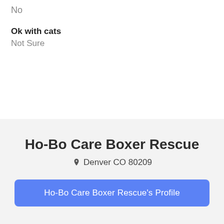No
Ok with cats
Not Sure
Ho-Bo Care Boxer Rescue
Denver CO 80209
Ho-Bo Care Boxer Rescue's Profile